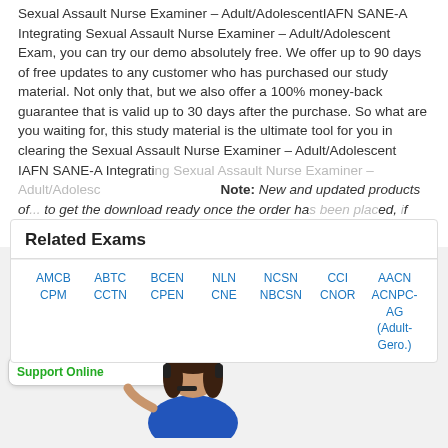Sexual Assault Nurse Examiner – Adult/AdolescentIAFN SANE-A Integrating Sexual Assault Nurse Examiner – Adult/Adolescent Exam, you can try our demo absolutely free. We offer up to 90 days of free updates to any customer who has purchased our study material. Not only that, but we also offer a 100% money-back guarantee that is valid up to 30 days after the purchase. So what are you waiting for, this study material is the ultimate tool for you in clearing the Sexual Assault Nurse Examiner – Adult/Adolescent IAFN SANE-A Integrating Sexual Assault Nurse Examiner – Adult/Adolescent... Note: New and updated products of... to get the download ready once the order has been placed, if you face any issues contact Live Chat Support representatives.
[Figure (illustration): Customer support agent illustration - woman with headset in blue outfit, with Support Online chat widget]
Related Exams
AMCB CPM | ABTC CCTN | BCEN CPEN | NLN CNE | NCSN NBCSN | CCI CNOR | AACN ACNPC-AG (Adult-Gero.)